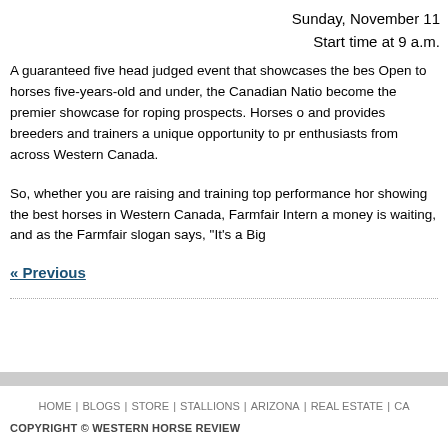Sunday, November 11
Start time at 9 a.m.
A guaranteed five head judged event that showcases the best. Open to horses five-years-old and under, the Canadian National has become the premier showcase for roping prospects. Horses compete and provides breeders and trainers a unique opportunity to promote enthusiasts from across Western Canada.
So, whether you are raising and training top performance horses, showing the best horses in Western Canada, Farmfair International money is waiting, and as the Farmfair slogan says, "It's a Big..."
« Previous
HOME | BLOGS | STORE | STALLIONS | ARIZONA | REAL ESTATE | CA...
COPYRIGHT © WESTERN HORSE REVIEW